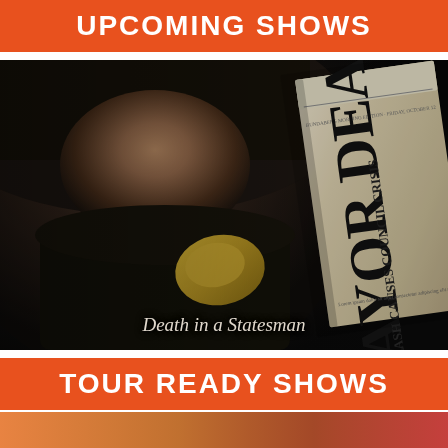UPCOMING SHOWS
[Figure (photo): Dark dramatic photo of a young person in a wide-brimmed hat holding up a newspaper. The newspaper reads 'The Bundaberg Truth' with headline 'MAYOR DEAD CRASH CAUSES COUNCIL CRISIS'. Caption reads 'Death in a Statesman'.]
Death in a Statesman
TOUR READY SHOWS